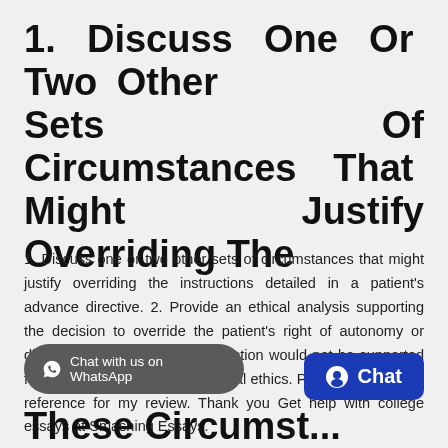1. Discuss One Or Two Other Sets Of Circumstances That Might Justify Overriding The
1. Discuss one or two other sets of circumstances that might justify overriding the instructions detailed in a patient's advance directive. 2. Provide an ethical analysis supporting the decision to override the patient's right of autonomy or discuss why such a course of action would not be supported from the perspective of biomedical ethics. Please include your reference for my review. Thank you Get help with college essays at Smashing Essays.
[Figure (other): Chat with us on WhatsApp button (dark gray rounded pill button)]
[Figure (other): Chat button (blue rounded rectangle with chat icon)]
These Circumstances Might Justify Ri...